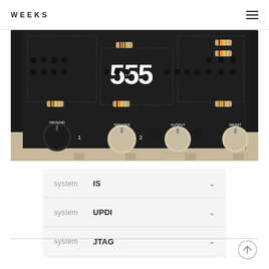WEEKS
[Figure (photo): Photo of a 555 timer circuit board/synthesizer module with black panel, showing components including transistors, resistors, knobs labeled GROUND, TRIGGER, OUTPUT, RESET, and the number 555 in large white text. Design by Eric Schlaepfer.]
system  IS
system  UPDI
system  JTAG